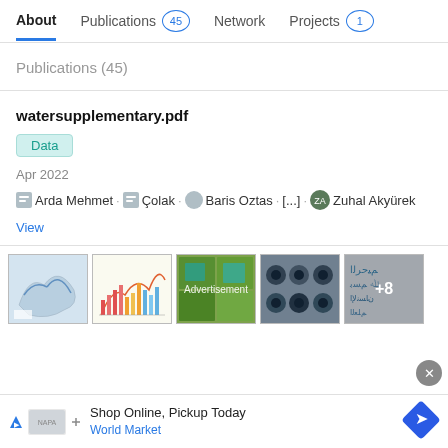About | Publications 45 | Network | Projects 1
Publications (45)
watersupplementary.pdf
Data
Apr 2022
Arda Mehmet . Çolak . Baris Oztas . [...] . Zuhal Akyürek
View
[Figure (photo): Thumbnail images of publication figures: map, bar chart, green map overlays, macro photography, handwritten Arabic text with +8 badge]
Advertisement
Shop Online, Pickup Today
World Market